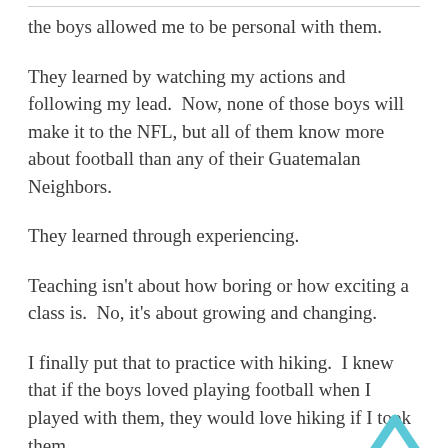the boys allowed me to be personal with them.
They learned by watching my actions and following my lead.  Now, none of those boys will make it to the NFL, but all of them know more about football than any of their Guatemalan Neighbors.
They learned through experiencing.
Teaching isn't about how boring or how exciting a class is.  No, it's about growing and changing.
I finally put that to practice with hiking.  I knew that if the boys loved playing football when I played with them, they would love hiking if I took them.